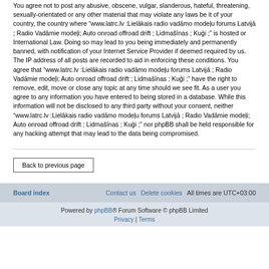You agree not to post any abusive, obscene, vulgar, slanderous, hateful, threatening, sexually-orientated or any other material that may violate any laws be it of your country, the country where “www.latrc.lv :Lielākais radio vadāmo modeļu forums Latvijā ; Radio Vadāmie modeļi; Auto onroad offroad drift ; Lidmašīnas ; Kuģi ;” is hosted or International Law. Doing so may lead to you being immediately and permanently banned, with notification of your Internet Service Provider if deemed required by us. The IP address of all posts are recorded to aid in enforcing these conditions. You agree that “www.latrc.lv :Lielākais radio vadāmo modeļu forums Latvijā ; Radio Vadāmie modeļi; Auto onroad offroad drift ; Lidmašīnas ; Kuģi ;” have the right to remove, edit, move or close any topic at any time should we see fit. As a user you agree to any information you have entered to being stored in a database. While this information will not be disclosed to any third party without your consent, neither “www.latrc.lv :Lielākais radio vadāmo modeļu forums Latvijā ; Radio Vadāmie modeļi; Auto onroad offroad drift ; Lidmašīnas ; Kuģi ;” nor phpBB shall be held responsible for any hacking attempt that may lead to the data being compromised.
Back to previous page
Board index | Contact us | Delete cookies | All times are UTC+03:00
Powered by phpBB® Forum Software © phpBB Limited | Privacy | Terms